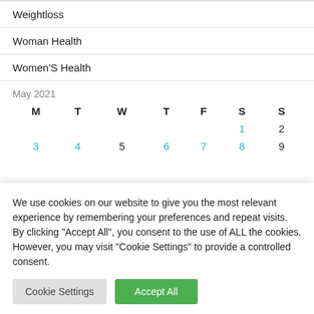Weightloss
Woman Health
Women'S Health
| M | T | W | T | F | S | S |
| --- | --- | --- | --- | --- | --- | --- |
|  |  |  |  |  | 1 | 2 |
| 3 | 4 | 5 | 6 | 7 | 8 | 9 |
We use cookies on our website to give you the most relevant experience by remembering your preferences and repeat visits. By clicking "Accept All", you consent to the use of ALL the cookies. However, you may visit "Cookie Settings" to provide a controlled consent.